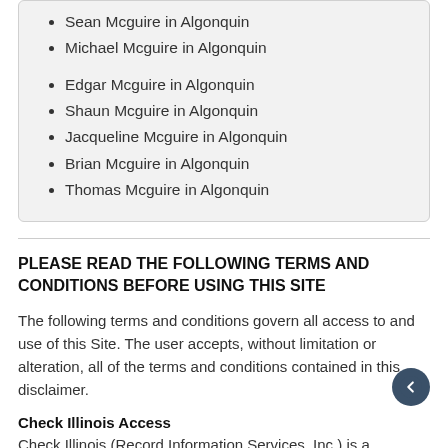Sean Mcguire in Algonquin
Michael Mcguire in Algonquin
Edgar Mcguire in Algonquin
Shaun Mcguire in Algonquin
Jacqueline Mcguire in Algonquin
Brian Mcguire in Algonquin
Thomas Mcguire in Algonquin
PLEASE READ THE FOLLOWING TERMS AND CONDITIONS BEFORE USING THIS SITE
The following terms and conditions govern all access to and use of this Site. The user accepts, without limitation or alteration, all of the terms and conditions contained in this disclaimer.
Check Illinois Access
Check Illinois (Record Information Services, Inc.) is a subsidiary of Record Information Services, Inc. Record Information Services, Inc. offers public record data to individuals and businesses alike for informational purposes only. No part of this online service or any